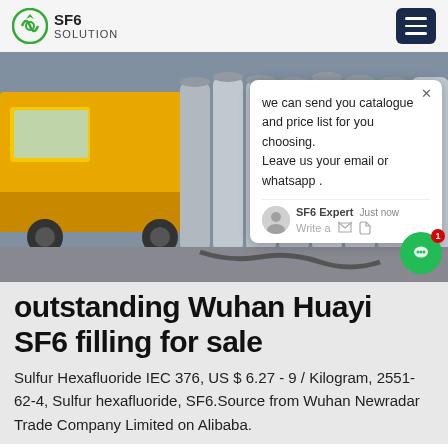SF6 SOLUTION
[Figure (photo): Photo of grey gas cylinders (SF6 tanks) lined up on a concrete surface next to a yellow truck, with more cylinders visible in the background.]
we can send you catalogue and price list for you choosing. Leave us your email or whatsapp .
outstanding Wuhan Huayi SF6 filling for sale
Sulfur Hexafluoride IEC 376, US $ 6.27 - 9 / Kilogram, 2551-62-4, Sulfur hexafluoride, SF6.Source from Wuhan Newradar Trade Company Limited on Alibaba.